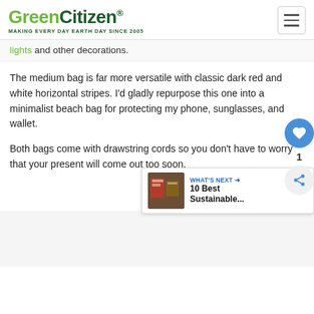GreenCitizen® MAKING EVERY DAY EARTH DAY SINCE 2005
lights and other decorations.
The medium bag is far more versatile with classic dark red and white horizontal stripes. I'd gladly repurpose this one into a minimalist beach bag for protecting my phone, sunglasses, and wallet.
Both bags come with drawstring cords so you don't have to worry that your present will come out too soon.
[Figure (other): What's Next widget showing '10 Best Sustainable...' article link with thumbnail image]